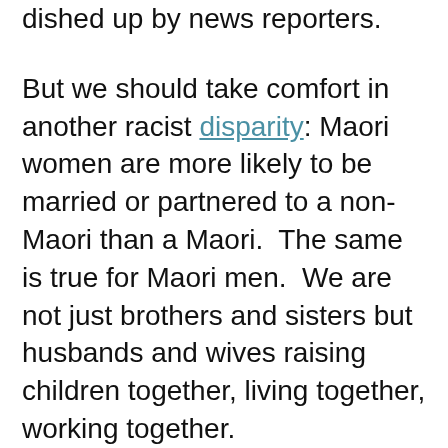dished up by news reporters.
But we should take comfort in another racist disparity: Maori women are more likely to be married or partnered to a non-Maori than a Maori.  The same is true for Maori men.  We are not just brothers and sisters but husbands and wives raising children together, living together, working together.
The government and the media are running a separatist agenda. It appears they are making a good play as they make up the daily news.  But they are not.  That's because the rest of us are just